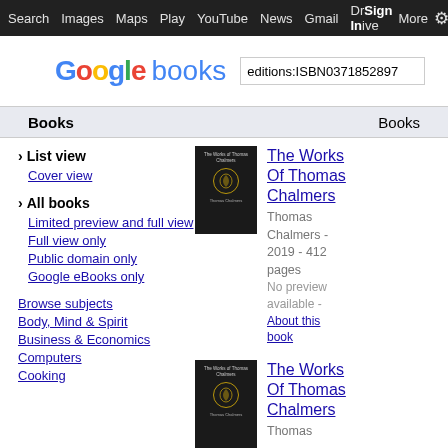Search  Images  Maps  Play  YouTube  News  Gmail  Drive  More  Sign In  ⚙
[Figure (logo): Google books logo with search box containing 'editions:ISBN0371852897']
Books    Books
› List view
Cover view
› All books
Limited preview and full view
Full view only
Public domain only
Google eBooks only
Browse subjects
Body, Mind & Spirit
Business & Economics
Computers
Cooking
[Figure (photo): Book cover of The Works Of Thomas Chalmers - black cover with gold emblem]
The Works Of Thomas Chalmers
Thomas Chalmers - 2019 - 412 pages
No preview available - About this book
[Figure (photo): Book cover of The Works Of Thomas Chalmers - black cover with gold emblem]
The Works Of Thomas Chalmers
Thomas